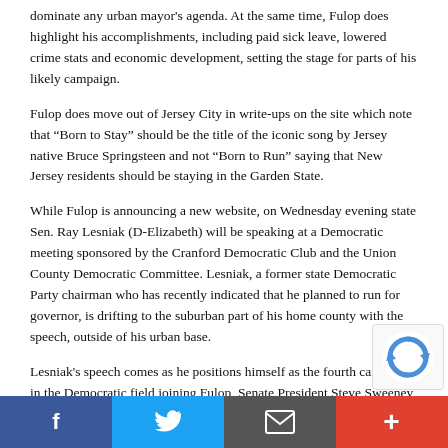dominate any urban mayor's agenda. At the same time, Fulop does highlight his accomplishments, including paid sick leave, lowered crime stats and economic development, setting the stage for parts of his likely campaign.
Fulop does move out of Jersey City in write-ups on the site which note that “Born to Stay” should be the title of the iconic song by Jersey native Bruce Springsteen and not “Born to Run” saying that New Jersey residents should be staying in the Garden State.
While Fulop is announcing a new website, on Wednesday evening state Sen. Ray Lesniak (D-Elizabeth) will be speaking at a Democratic meeting sponsored by the Cranford Democratic Club and the Union County Democratic Committee. Lesniak, a former state Democratic Party chairman who has recently indicated that he planned to run for governor, is drifting to the suburban part of his home county with the speech, outside of his urban base.
Lesniak's speech comes as he positions himself as the fourth candidate in the Democratic field joining Fulop, Senate President Steve Sweeney (D-West Deptford) and former
Facebook | Twitter | Email | More